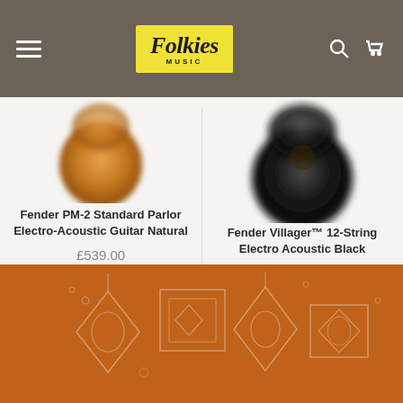Folkies Music — navigation bar with hamburger menu, logo, search and cart icons
[Figure (photo): Bottom portion of a natural-finish acoustic guitar body, warm orange-brown color, blurred/cropped]
Fender PM-2 Standard Parlor Electro-Acoustic Guitar Natural
£539.00
[Figure (photo): Bottom portion of a black electro-acoustic guitar body, blurred/cropped]
Fender Villager™ 12-String Electro Acoustic Black
£439.00
[Figure (illustration): Orange/brown footer section with decorative line-art geometric shapes including guitars and musical instruments]